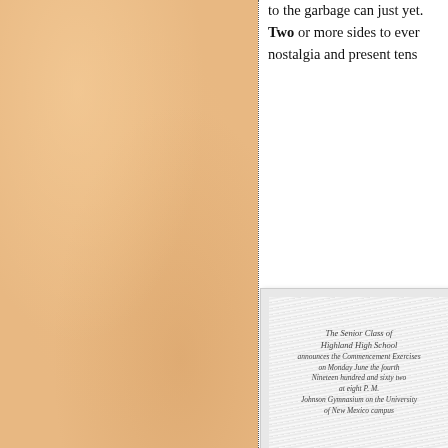[Figure (photo): Left half of page showing tan/parchment textured background with dotted vertical divider line]
to the garbage can just yet. Two or more sides to every nostalgia and present tense
[Figure (photo): Graduation commencement invitation from The Senior Class of Highland High School announcing Commencement Exercises on Monday June the fourth Nineteen hundred and sixty two at eight P.M. Johnson Gymnasium on the University of New Mexico campus]